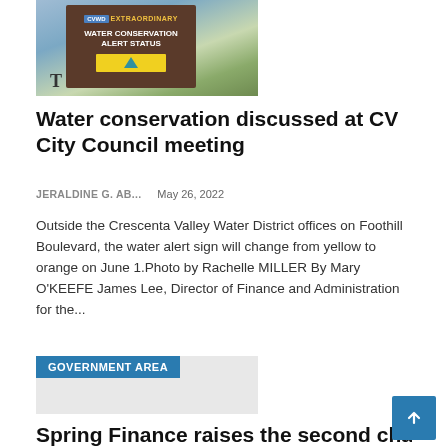[Figure (photo): CVWD Extraordinary Water Conservation Alert Status sign outside Crescenta Valley Water District offices, with yellow alert sign on a wooden post, trees and mountains in background]
Water conservation discussed at CV City Council meeting
JERALDINE G. AB...    May 26, 2022
Outside the Crescenta Valley Water District offices on Foothill Boulevard, the water alert sign will change from yellow to orange on June 1.Photo by Rachelle MILLER By Mary O'KEEFE James Lee, Director of Finance and Administration for the...
[Figure (other): Government Area placeholder image block with teal/blue label header reading GOVERNMENT AREA]
Spring Finance raises the second charge and